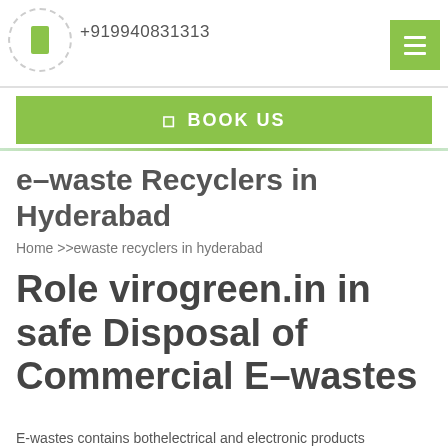+919940831313
☰ BOOK US
e–waste Recyclers in Hyderabad
Home >>ewaste recyclers in hyderabad
Role virogreen.in in safe Disposal of Commercial E–wastes
E-wastes contains bothelectrical and electronic products